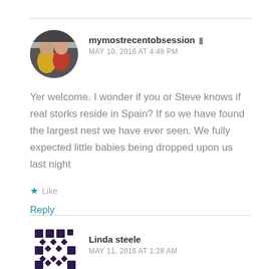mymostrecentobsession
MAY 10, 2016 AT 4:49 PM
Yer welcome. I wonder if you or Steve knows if real storks reside in Spain? If so we have found the largest nest we have ever seen. We fully expected little babies being dropped upon us last night
Like
Reply
Linda steele
MAY 11, 2016 AT 1:28 AM